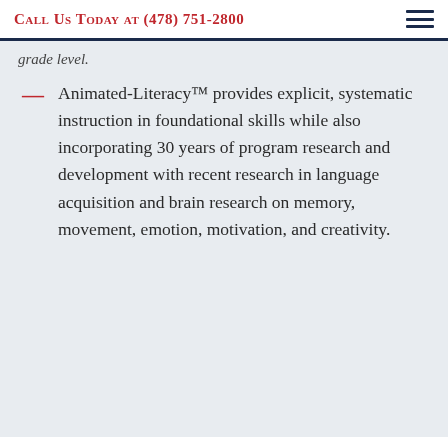Call Us Today at (478) 751-2800
grade level.
Animated-Literacy™ provides explicit, systematic instruction in foundational skills while also incorporating 30 years of program research and development with recent research in language acquisition and brain research on memory, movement, emotion, motivation, and creativity.